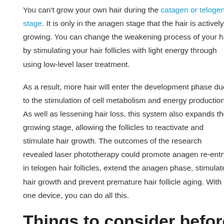You can't grow your own hair during the catagen or telogen stage. It is only in the anagen stage that the hair is actively growing. You can change the weakening process of your hair by stimulating your hair follicles with light energy through using low-level laser treatment.
As a result, more hair will enter the development phase due to the stimulation of cell metabolism and energy production. As well as lessening hair loss, this system also expands the growing stage, allowing the follicles to reactivate and stimulate hair growth. The outcomes of the research revealed laser phototherapy could promote anagen re-entry in telogen hair follicles, extend the anagen phase, stimulate hair growth and prevent premature hair follicle aging. With one device, you can do all this.
Things to consider before purchasing